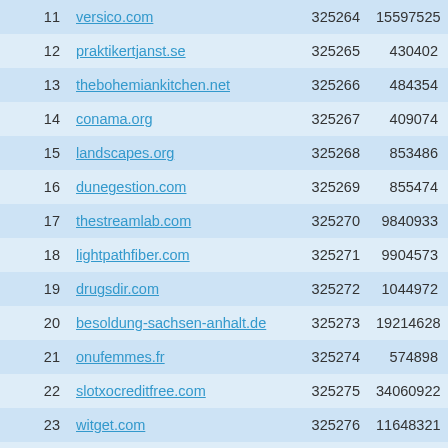| # | Domain | ID | Value |
| --- | --- | --- | --- |
| 11 | versico.com | 325264 | 15597525 |
| 12 | praktikertjanst.se | 325265 | 430402 |
| 13 | thebohemiankitchen.net | 325266 | 484354 |
| 14 | conama.org | 325267 | 409074 |
| 15 | landscapes.org | 325268 | 853486 |
| 16 | dunegestion.com | 325269 | 855474 |
| 17 | thestreamlab.com | 325270 | 9840933 |
| 18 | lightpathfiber.com | 325271 | 9904573 |
| 19 | drugsdir.com | 325272 | 1044972 |
| 20 | besoldung-sachsen-anhalt.de | 325273 | 19214628 |
| 21 | onufemmes.fr | 325274 | 574898 |
| 22 | slotxocreditfree.com | 325275 | 34060922 |
| 23 | witget.com | 325276 | 11648321 |
| 24 | steviejones.co.uk | 325277 | 485600 |
| 25 | lojaxbs.cn | 325278 | 53820800 |